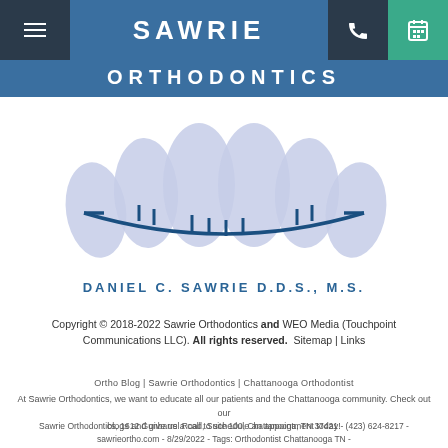[Figure (logo): Sawrie Orthodontics navigation bar with hamburger menu, logo text SAWRIE ORTHODONTICS on blue background, phone icon on dark background, and calendar icon on teal background]
[Figure (illustration): Stylized illustration of teeth/braces logo — light blue-gray tooth shapes with a dark blue orthodontic wire and brackets running across them]
DANIEL C. SAWRIE D.D.S., M.S.
Copyright © 2018-2022 Sawrie Orthodontics and WEO Media (Touchpoint Communications LLC). All rights reserved.  Sitemap | Links
Ortho Blog | Sawrie Orthodontics | Chattanooga Orthodontist
At Sawrie Orthodontics, we want to educate all our patients and the Chattanooga community. Check out our blogs and give us a call to schedule an appointment today!
Sawrie Orthodontics, 1612 Gunbarrel Road, Suite 100, Chattanooga, TN 37421 - (423) 624-8217 - sawrieortho.com - 8/29/2022 - Tags: Orthodontist Chattanooga TN -